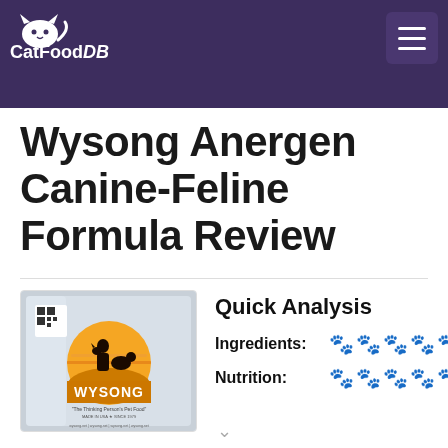CatFoodDB
Wysong Anergen Canine-Feline Formula Review
[Figure (photo): Wysong Anergen Canine-Feline Formula product bag — silver bag with Wysong logo showing silhouette of person with dog and cat, orange/yellow sunrise background, text 'The Thinking Person's Pet Food' and 'MADE IN USA SINCE 1979']
Quick Analysis
Ingredients: 2.5 out of 5 paws
Nutrition: 1 out of 5 paws